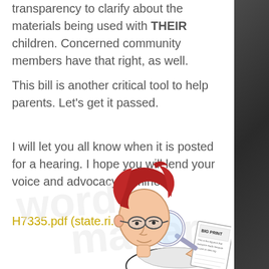transparency to clarify about the materials being used with THEIR children. Concerned community members have that right, as well.
This bill is another critical tool to help parents. Let's get it passed.
I will let you all know when it is posted for a hearing. I hope you will lend your voice and advocacy to mine.
H7335.pdf (state.ri.us)
[Figure (illustration): Cartoon illustration of a red-haired woman with glasses reading a document labeled 'BIG PRINT' through a magnifying glass, with faint text watermark in background]